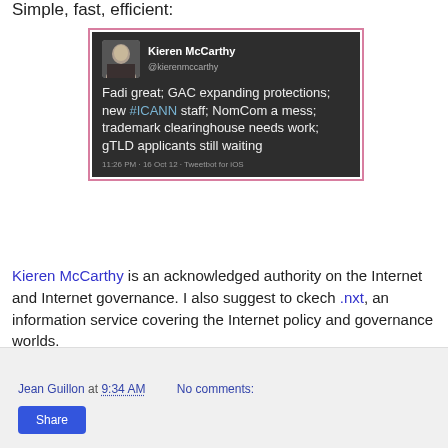Simple, fast, efficient:
[Figure (screenshot): A tweet by Kieren McCarthy (@kierenmccarthy) on a dark background: 'Fadi great; GAC expanding protections; new #ICANN staff; NomCom a mess; trademark clearinghouse needs work; gTLD applicants still waiting' — 11:26 PM · 16 Oct 12 · Tweetbot for iOS]
Kieren McCarthy is an acknowledged authority on the Internet and Internet governance. I also suggest to ckech .nxt, an information service covering the Internet policy and governance worlds.
Jean Guillon at 9:34 AM   No comments:   Share